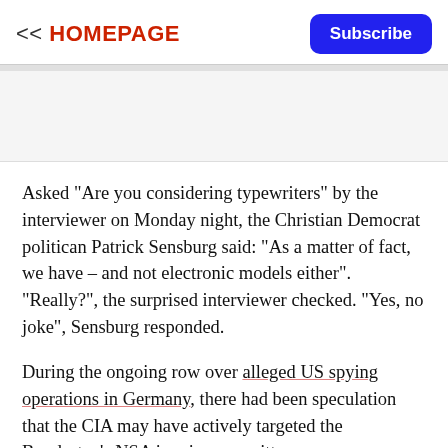<< HOMEPAGE
Asked "Are you considering typewriters" by the interviewer on Monday night, the Christian Democrat politican Patrick Sensburg said: "As a matter of fact, we have – and not electronic models either". "Really?", the surprised interviewer checked. "Yes, no joke", Sensburg responded.
During the ongoing row over alleged US spying operations in Germany, there had been speculation that the CIA may have actively targeted the Bundestag's NSA inquiry committee.